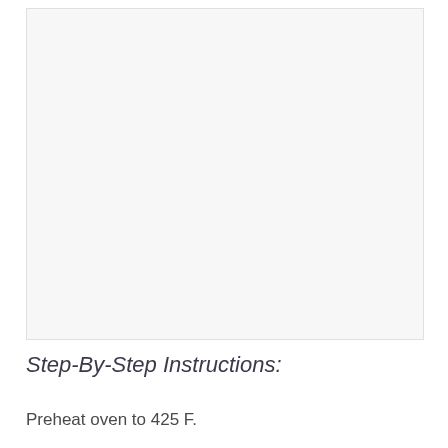[Figure (photo): Large image placeholder area with light gray background]
Step-By-Step Instructions:
Preheat oven to 425 F.